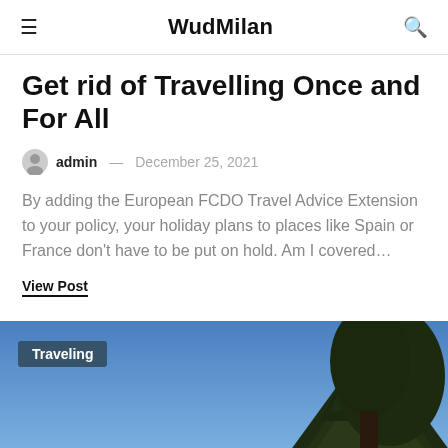WudMilan
Get rid of Travelling Once and For All
admin — December 25, 2021
By adding the European FCDO Travel Advice Extension to your policy, your holiday plans to places like Spain or France don't have to be put on hold. Am I covered…
View Post
[Figure (photo): Outdoor photo showing a tree silhouette against a blue sky with a 'Traveling' category tag overlay]